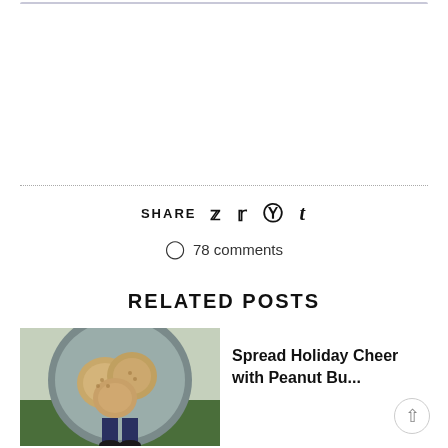SHARE
78 comments
RELATED POSTS
[Figure (photo): A person holding a tin of peanut butter cookies, standing outdoors on grass.]
Spread Holiday Cheer with Peanut Bu...